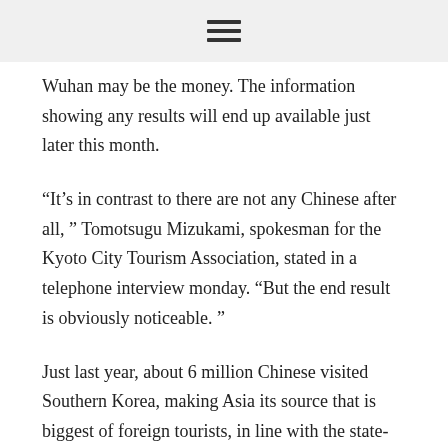≡
Wuhan may be the money. The information showing any results will end up available just later this month.
“It’s in contrast to there are not any Chinese after all, ” Tomotsugu Mizukami, spokesman for the Kyoto City Tourism Association, stated in a telephone interview monday. “But the end result is obviously noticeable. ”
Just last year, about 6 million Chinese visited Southern Korea, making Asia its source that is biggest of foreign tourists, in line with the state-run Korea Tourism Organization.
In current times, major shopping districts as well as other spots when you look at the money Seoul favored by Chinese